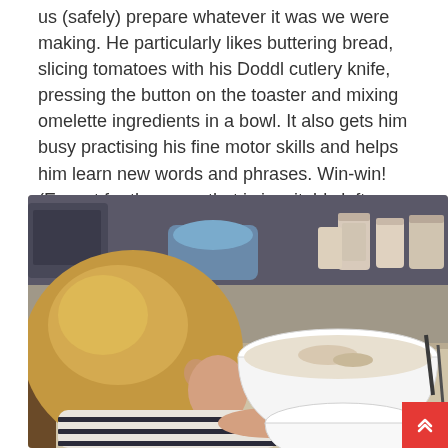us (safely) prepare whatever it was we were making. He particularly likes buttering bread, slicing tomatoes with his Doddl cutlery knife, pressing the button on the toaster and mixing omelette ingredients in a bowl. It also gets him busy practising his fine motor skills and helps him learn new words and phrases. Win-win! (Except for the mess that is inevitably left behind…)
[Figure (photo): A young toddler with blonde/light brown hair, wearing a striped black and white top, standing at a kitchen counter with a large white mixing bowl in front of them, appearing to mix ingredients. Kitchen jars and appliances are visible in the background.]